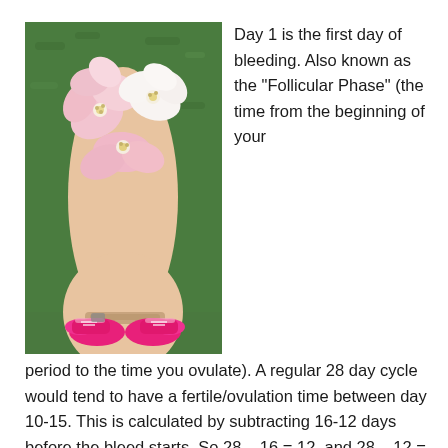[Figure (photo): A hand holding a bouquet of pink and white cherry blossom flowers, with pink sneakers visible below on green grass background.]
Day 1 is the first day of bleeding. Also known as the “Follicular Phase” (the time from the beginning of your period to the time you ovulate). A regular 28 day cycle would tend to have a fertile/ovulation time between day 10-15. This is calculated by subtracting 16-12 days before the bleed starts. So 28 – 16 = 12, and 28 – 12 = 16.